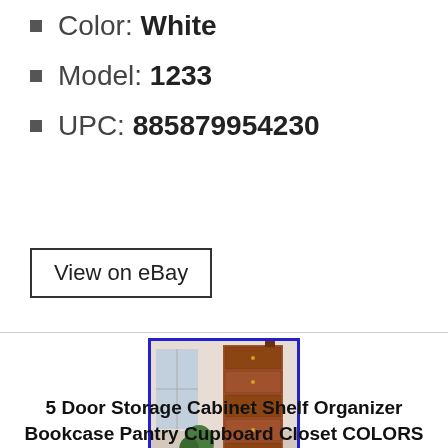Color: White
Model: 1233
UPC: 885879954230
View on eBay
[Figure (photo): Product photo of a tall 5-door storage cabinet in brown/cherry finish, shown in a room setting with a window and plant visible]
5 Door Storage Cabinet Shelf Organizer Bookcase Pantry Cupboard Closet COLORS